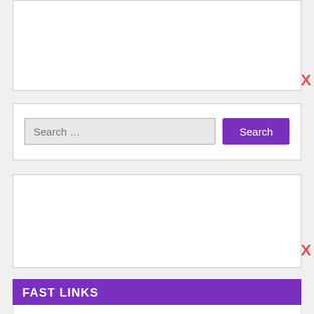[Figure (other): Advertisement box at top, white rectangle with close X button]
[Figure (other): Search bar with text input 'Search ...' and purple Search button]
[Figure (other): Advertisement box in middle, white rectangle with close X button]
FAST LINKS
AAUA ABSU Admission Form Admission Forms Admission List Admission Lists ADSU AGGREGATE CUT OFF MARK Aggregate Score Courses Cut Off Mark FUNAI FUOYE HND Result JAMB JUPEB Form MAUTECH MOUAU Part Time Admission Form Part Time Admission List PORTAL